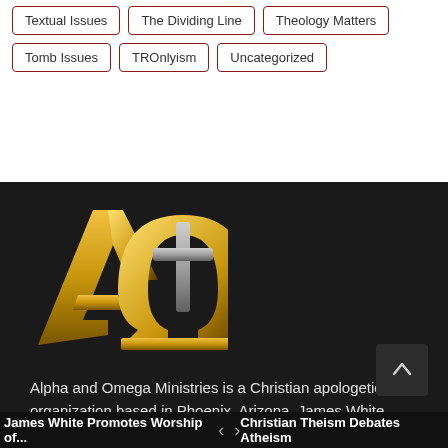Textual Issues
The Dividing Line
Theology Matters
Tomb Issues
TROnlyism
Uncategorized
[Figure (logo): Alpha and Omega Ministries logo — gold stylized Alpha and Omega Greek letters with a cross]
Alpha and Omega Ministries is a Christian apologetics organization based in Phoenix, Arizona. James White, director, is a professor, having taught Greek, Systematic Theology, and various topics in the field of apologetics for numerous schools.
Learn More About Us >
James White Promotes Worship of...    <    >    Christian Theism Debates Atheism